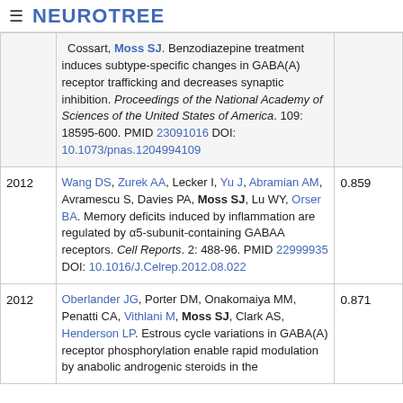≡ NEUROTREE
| Year | Reference | Score |
| --- | --- | --- |
|  | Cossart, Moss SJ. Benzodiazepine treatment induces subtype-specific changes in GABA(A) receptor trafficking and decreases synaptic inhibition. Proceedings of the National Academy of Sciences of the United States of America. 109: 18595-600. PMID 23091016 DOI: 10.1073/pnas.1204994109 |  |
| 2012 | Wang DS, Zurek AA, Lecker I, Yu J, Abramian AM, Avramescu S, Davies PA, Moss SJ, Lu WY, Orser BA. Memory deficits induced by inflammation are regulated by α5-subunit-containing GABAA receptors. Cell Reports. 2: 488-96. PMID 22999935 DOI: 10.1016/J.Celrep.2012.08.022 | 0.859 |
| 2012 | Oberlander JG, Porter DM, Onakomaiya MM, Penatti CA, Vithlani M, Moss SJ, Clark AS, Henderson LP. Estrous cycle variations in GABA(A) receptor phosphorylation enable rapid modulation by anabolic androgenic steroids in the | 0.871 |